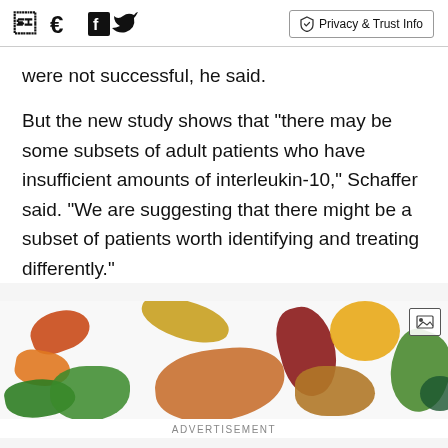Facebook Twitter | Privacy & Trust Info
were not successful, he said.
But the new study shows that "there may be some subsets of adult patients who have insufficient amounts of interleukin-10," Schaffer said. "We are suggesting that there might be a subset of patients worth identifying and treating differently."
[Figure (photo): Advertisement image showing colorful vegetables and food items on a white background, with an expand icon in the top right corner.]
ADVERTISEMENT